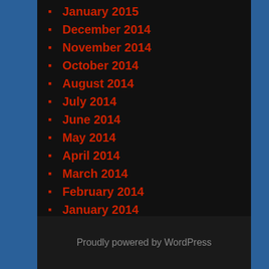January 2015
December 2014
November 2014
October 2014
August 2014
July 2014
June 2014
May 2014
April 2014
March 2014
February 2014
January 2014
December 2013
November 2013
October 2013
April 2013
March 2013
Proudly powered by WordPress